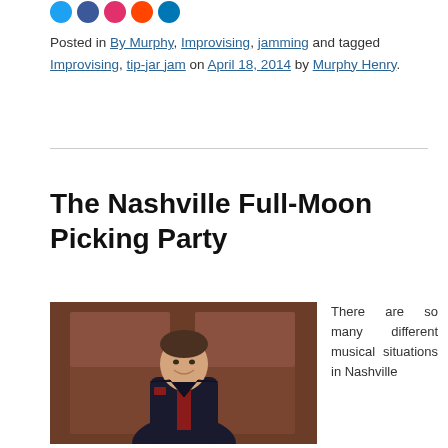[Figure (illustration): Row of social media icon circles (blue, dark blue, red/pink, orange-red, dark blue/navy)]
Posted in By Murphy, Improvising, jamming and tagged Improvising, tip-jar jam on April 18, 2014 by Murphy Henry.
The Nashville Full-Moon Picking Party
[Figure (photo): A young man in a dark suit with a red shirt smiling, standing in front of a wooden door background]
There are so many different musical situations in Nashville